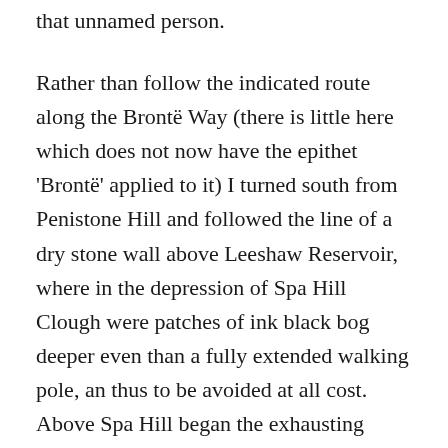that unnamed person.
Rather than follow the indicated route along the Brontë Way (there is little here which does not now have the epithet 'Brontë' applied to it) I turned south from Penistone Hill and followed the line of a dry stone wall above Leeshaw Reservoir, where in the depression of Spa Hill Clough were patches of ink black bog deeper even than a fully extended walking pole, an thus to be avoided at all cost. Above Spa Hill began the exhausting climb through sodden purple moor grass and large patches of lime green sphagnum moss, to Oxenhope Stoop Hill, where I came upon a tall boundary stone, hewn from the local gritstone and carved with a large letter 'H'. I considered for a moment if the 'H' stood for a certain misanthropic character in Wuthering Heights, but